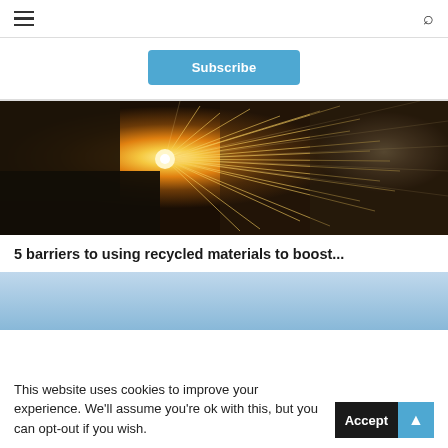≡  🔍
Subscribe
[Figure (photo): Industrial laser cutting machine producing bright sparks of light, close-up view of metalworking process with dramatic golden sparks flying.]
5 barriers to using recycled materials to boost...
[Figure (photo): Light blue sky background, partial view of article image below the title.]
This website uses cookies to improve your experience. We'll assume you're ok with this, but you can opt-out if you wish.